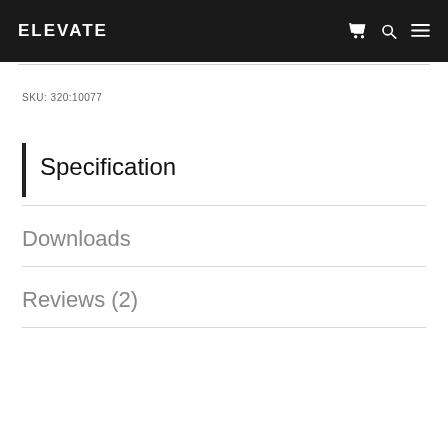ELEVATE
SKU: 320:10077
Specification
Downloads
Reviews (2)